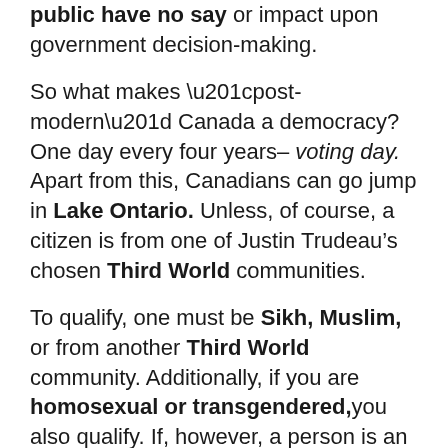public have no say or impact upon government decision-making.
So what makes “post-modern” Canada a democracy? One day every four years– voting day. Apart from this, Canadians can go jump in Lake Ontario. Unless, of course, a citizen is from one of Justin Trudeau’s chosen Third World communities.
To qualify, one must be Sikh, Muslim, or from another Third World community. Additionally, if you are homosexual or transgendered, you also qualify. If, however, a person is an Anglophone-Canadian, they mean nothing to government.